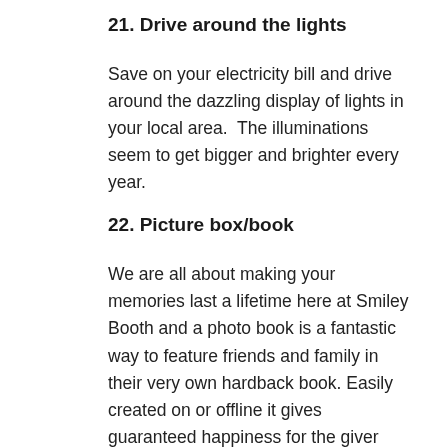21. Drive around the lights
Save on your electricity bill and drive around the dazzling display of lights in your local area.  The illuminations seem to get bigger and brighter every year.
22. Picture box/book
We are all about making your memories last a lifetime here at Smiley Booth and a photo book is a fantastic way to feature friends and family in their very own hardback book. Easily created on or offline it gives guaranteed happiness for the giver and receiver!
23. Memory Jar